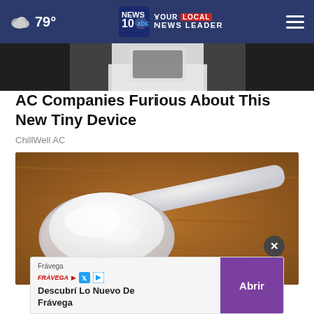79° | NEWS 10 YOUR LOCAL NEWS LEADER
[Figure (photo): Person holding a smartphone, partially visible, dark background]
AC Companies Furious About This New Tiny Device
ChillWell AC
[Figure (photo): A plastic measuring scoop filled with white powder sitting on a wooden surface]
[Figure (other): Advertisement banner: Frávega - Descubrí Lo Nuevo De Frávega with Abrir button]